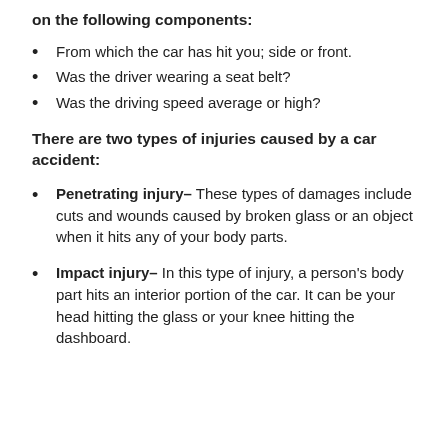on the following components:
From which the car has hit you; side or front.
Was the driver wearing a seat belt?
Was the driving speed average or high?
There are two types of injuries caused by a car accident:
Penetrating injury- These types of damages include cuts and wounds caused by broken glass or an object when it hits any of your body parts.
Impact injury- In this type of injury, a person's body part hits an interior portion of the car. It can be your head hitting the glass or your knee hitting the dashboard.